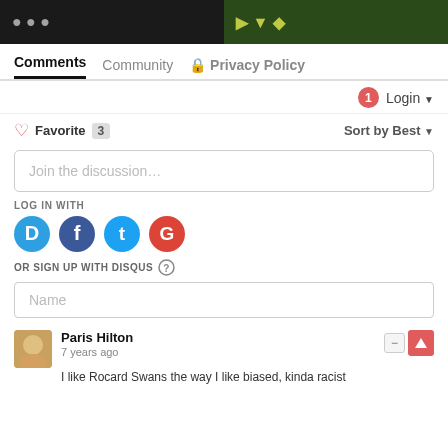[Figure (photo): Two cropped images side by side at top: left is dark/persons, right is colorful character]
Comments  Community  🔒 Privacy Policy
🔔1  Login ▼
♡ Favorite  3    Sort by Best ▼
Join the discussion...
LOG IN WITH
[Figure (logo): Social login icons: Disqus (D), Facebook (F), Twitter (T), Google (G)]
OR SIGN UP WITH DISQUS ?
Name
Paris Hilton
7 years ago
I like Roger Swans the way I like biased, kinda racist